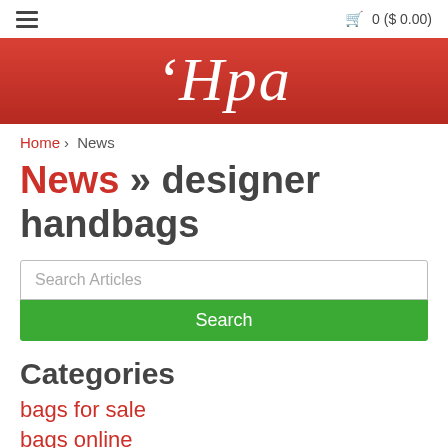≡   🛒 0 ($ 0.00)
[Figure (logo): Red banner with italic serif logo text 'Hpa]
Home › News
News » designer handbags
Search Articles
Search
Categories
bags for sale
bags online